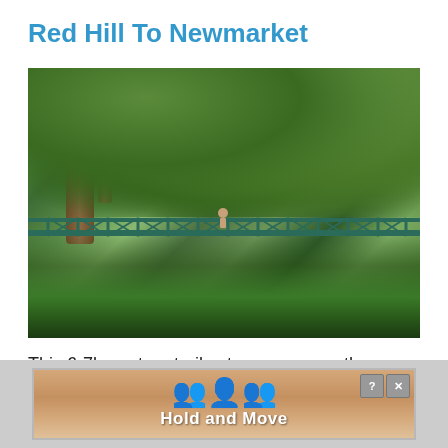Red Hill To Newmarket
[Figure (photo): A green metal pedestrian bridge surrounded by lush native bush and trees, with a person walking across it. Dense foliage including large trees and grasses frame the scene.]
This 6-7km return trail cuts a green swathe
[Figure (other): Advertisement banner with cartoon figures and text reading 'Hold and Move' on a wood-textured background with help and close buttons.]